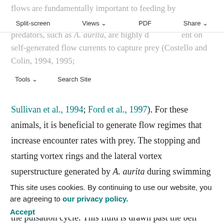flows are fundamentally important to feeding by swimming A. aurita. Medusae that feed as cruising predators, such as A. aurita, are highly dependent on self-generated flow currents to capture prey (Costello and Colin, 1994, 1995; Sullivan et al., 1994; Ford et al., 1997). For these animals, it is beneficial to generate flow regimes that increase encounter rates with prey. The stopping and starting vortex rings and the lateral vortex superstructure generated by A. aurita during swimming serve this role. First, both the starting and the stopping vortices entrain fluid from outside the bell throughout the pulsation cycle. This fluid is drawn past the bell margin toward the tentacles that are positioned in the starting vortex during bell contraction and the stopping vortex during bell relaxation (Fig. 4). Since the starting and stopping vortex rings entrain fluid during both the bell contraction and
Split-screen  Views  PDF  Share  Tools  Search Site
This site uses cookies. By continuing to use our website, you are agreeing to our privacy policy. Accept